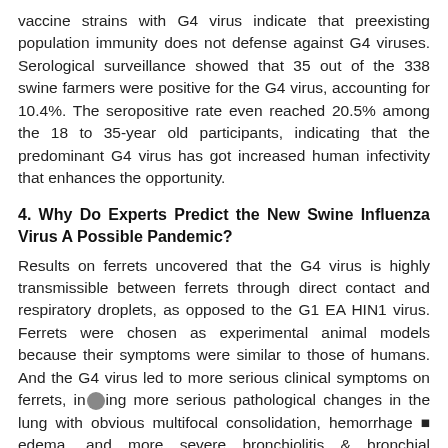vaccine strains with G4 virus indicate that preexisting population immunity does not defense against G4 viruses. Serological surveillance showed that 35 out of the 338 swine farmers were positive for the G4 virus, accounting for 10.4%. The seropositive rate even reached 20.5% among the 18 to 35-year old participants, indicating that the predominant G4 virus has got increased human infectivity that enhances the opportunity.
4. Why Do Experts Predict the New Swine Influenza Virus A Possible Pandemic?
Results on ferrets uncovered that the G4 virus is highly transmissible between ferrets through direct contact and respiratory droplets, as opposed to the G1 EA HIN1 virus. Ferrets were chosen as experimental animal models because their symptoms were similar to those of humans. And the G4 virus led to more serious clinical symptoms on ferrets, including more serious pathological changes in the lung with obvious multifocal consolidation, hemorrhage ■ edema, and more severe bronchiolitis & bronchial pneumonia. This suggests that G4 viruses may cause more severe infections in humans. No